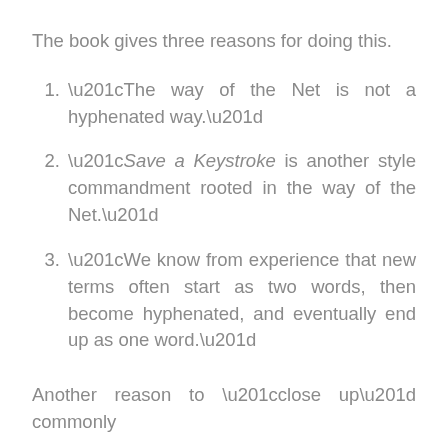The book gives three reasons for doing this.
“The way of the Net is not a hyphenated way.”
“Save a Keystroke is another style commandment rooted in the way of the Net.”
“We know from experience that new terms often start as two words, then become hyphenated, and eventually end up as one word.”
Another reason to “close up” commonly